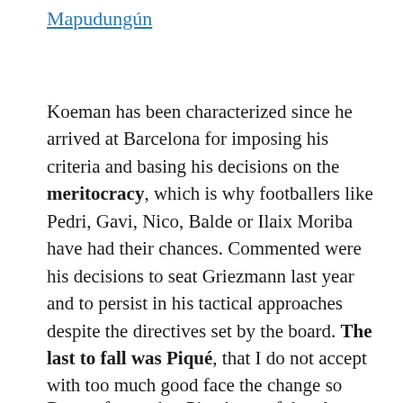Mapudungún
Koeman has been characterized since he arrived at Barcelona for imposing his criteria and basing his decisions on the meritocracy, which is why footballers like Pedri, Gavi, Nico, Balde or Ilaix Moriba have had their chances. Commented were his decisions to seat Griezmann last year and to persist in his tactical approaches despite the directives set by the board. The last to fall was Piqué, that I do not accept with too much good face the change so early. The footballer could be seen on the bench, very serious and thoughtful.
Do not forget that Piqué one of the pla...